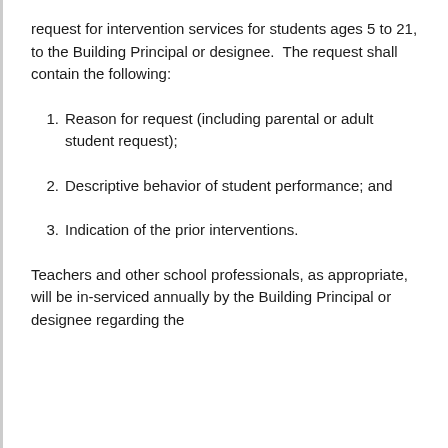request for intervention services for students ages 5 to 21, to the Building Principal or designee.  The request shall contain the following:
Reason for request (including parental or adult student request);
Descriptive behavior of student performance; and
Indication of the prior interventions.
Teachers and other school professionals, as appropriate, will be in-serviced annually by the Building Principal or designee regarding the